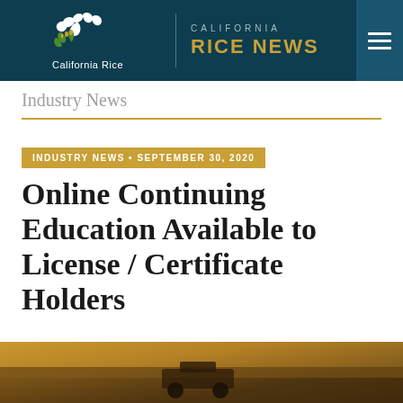California Rice | CALIFORNIA RICE NEWS
Industry News
INDUSTRY NEWS • SEPTEMBER 30, 2020
Online Continuing Education Available to License / Certificate Holders
[Figure (photo): Warm-toned outdoor/agricultural photo strip at bottom of page]